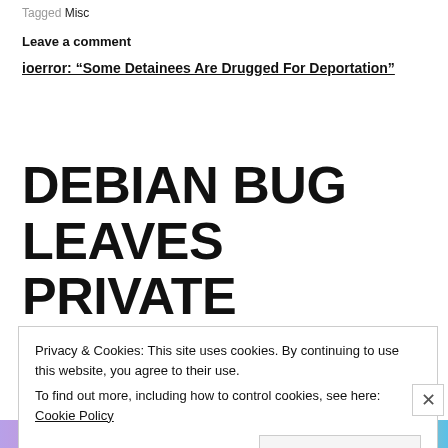Tagged Misc
Leave a comment
ioerror: “Some Detainees Are Drugged For Deportation”
DEBIAN BUG LEAVES PRIVATE SSL/SSH KEYS GUESSABLE
Privacy & Cookies: This site uses cookies. By continuing to use this website, you agree to their use.
To find out more, including how to control cookies, see here: Cookie Policy
Close and accept
[Figure (other): Colorful advertisement banner at bottom of page showing text 'everything you need.']